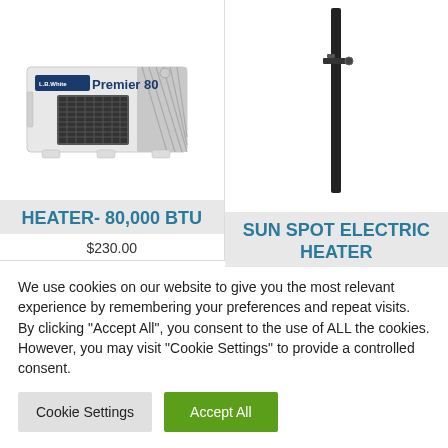[Figure (photo): White box heater labeled 'Premier 80' with L.B. White branding, showing a rectangular white unit with vented front grill]
[Figure (photo): Black vertical pole/stand for a Sun Spot Electric Heater, showing just the tall black pole with a mount bracket]
HEATER- 80,000 BTU
$230.00
SUN SPOT ELECTRIC HEATER
We use cookies on our website to give you the most relevant experience by remembering your preferences and repeat visits. By clicking "Accept All", you consent to the use of ALL the cookies. However, you may visit "Cookie Settings" to provide a controlled consent.